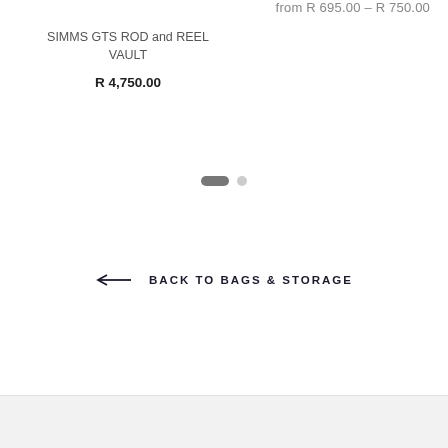from R 695.00 – R 750.00
SIMMS GTS ROD and REEL VAULT
R 4,750.00
[Figure (other): Carousel pagination indicator with two dots: one active (pill-shaped, dark gray) and one inactive (circle, light gray)]
← BACK TO BAGS & STORAGE